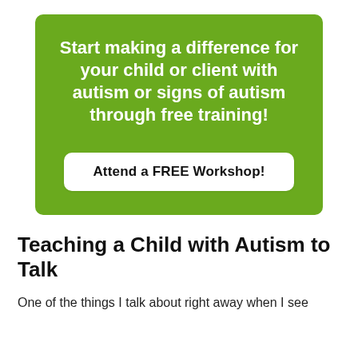[Figure (infographic): Green rounded rectangle banner with white bold text reading 'Start making a difference for your child or client with autism or signs of autism through free training!' and a white rounded rectangle button with bold text 'Attend a FREE Workshop!']
Teaching a Child with Autism to Talk
One of the things I talk about right away when I see